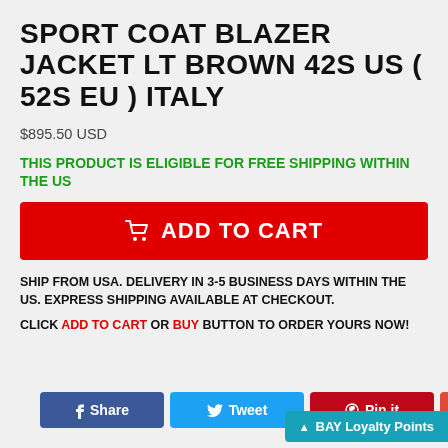SPORT COAT BLAZER JACKET LT BROWN 42S US ( 52S EU ) ITALY
$895.50 USD
THIS PRODUCT IS ELIGIBLE FOR FREE SHIPPING WITHIN THE US
[Figure (other): Red ADD TO CART button with shopping cart icon]
SHIP FROM USA. DELIVERY IN 3-5 BUSINESS DAYS WITHIN THE US. EXPRESS SHIPPING AVAILABLE AT CHECKOUT.
CLICK ADD TO CART OR BUY BUTTON TO ORDER YOURS NOW!
[Figure (other): Social share buttons: Facebook Share, Twitter Tweet, Pinterest Pin it, Google+, and BAY Loyalty Points bar]